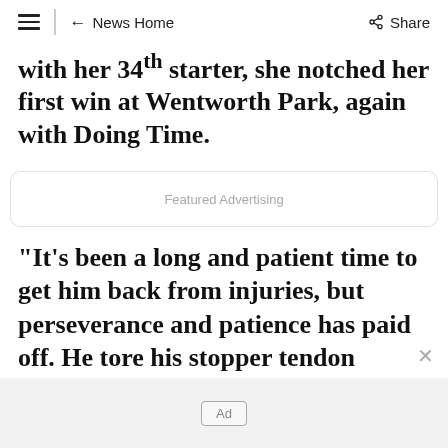News Home | Share
with her 34th starter, she notched her first win at Wentworth Park, again with Doing Time.
[Figure (other): Featured Advertising placeholder box]
"It's been a long and patient time to get him back from injuries, but perseverance and patience has paid off. He tore his stopper tendon before he had even had a start, and it took about five months to get him back from that.
[Figure (other): Bottom ad bar with Ad tag and close X button]